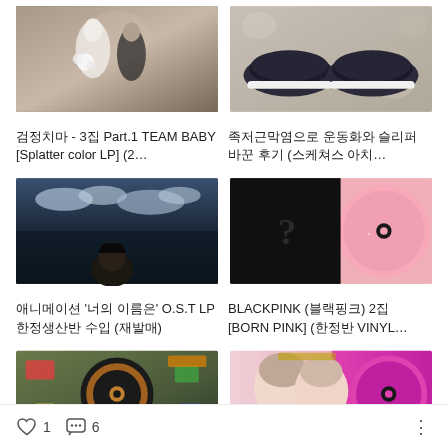[Figure (photo): Wedding photo - couple in wedding attire, bride holding bouquet, in a church setting]
검정치마 - 3집 Part.1 TEAM BABY [Splatter color LP] (2…
[Figure (photo): Dark navy/black sneakers on a floral background]
족저근막염으로 운동화와 슬리퍼 바꾼 후기 (스케쳐스 아치…
[Figure (photo): Anime scene from 'Your Name' - character looking at cloudy sky]
애니메이션 '너의 이름은' O.S.T LP 한정생산반 수입 (재발매)
[Figure (photo): BLACKPINK BORN PINK album - black sleeve with question mark and pink vinyl record]
BLACKPINK (블랙핑크) 2집 [BORN PINK] (한정반 VINYL…
[Figure (photo): Vinyl record collection flat lay with colorful items]
[Figure (photo): K-pop album with two female artists and a bright pink/magenta vinyl record]
♡ 1   💬 6   ⋮